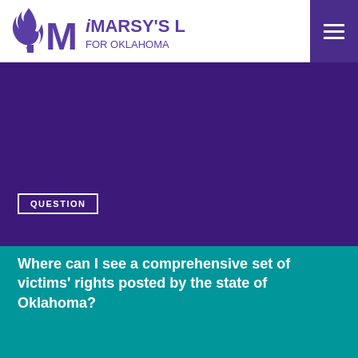[Figure (logo): Marsy's Law for Oklahoma logo with torch/M icon in purple]
[Figure (other): Purple hero background section]
QUESTION
Where can I see a comprehensive set of victims' rights posted by the state of Oklahoma?